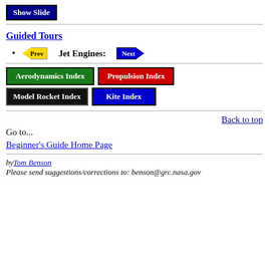[Figure (other): Blue 'Show Slide' button]
Guided Tours
Prev  Jet Engines:  Next
[Figure (other): Aerodynamics Index green button]
[Figure (other): Propulsion Index red button]
[Figure (other): Model Rocket Index black button]
[Figure (other): Kite Index blue button]
Back to top
Go to...
Beginner's Guide Home Page
by Tom Benson
Please send suggestions/corrections to: benson@grc.nasa.gov